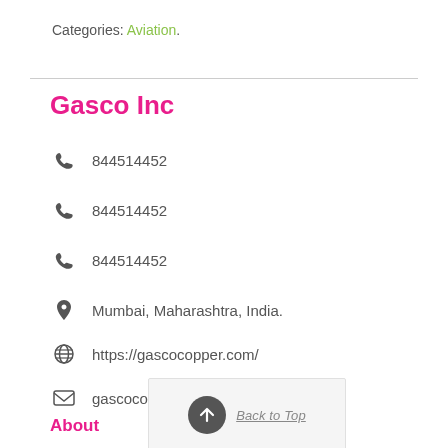Categories: Aviation.
Gasco Inc
844514452
844514452
844514452
Mumbai, Maharashtra, India.
https://gascocopper.com/
gascocopper1@gmail.com
About
Gasco inc is one of the Best Cupro Nickel Pipes and Tubes Manufacturer in India. We provide a wide range of Cupro Nickel Pipes and Tubes that are highly prai... Read more